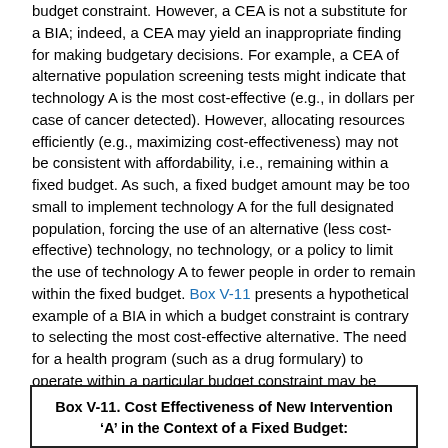budget constraint. However, a CEA is not a substitute for a BIA; indeed, a CEA may yield an inappropriate finding for making budgetary decisions. For example, a CEA of alternative population screening tests might indicate that technology A is the most cost-effective (e.g., in dollars per case of cancer detected). However, allocating resources efficiently (e.g., maximizing cost-effectiveness) may not be consistent with affordability, i.e., remaining within a fixed budget. As such, a fixed budget amount may be too small to implement technology A for the full designated population, forcing the use of an alternative (less cost-effective) technology, no technology, or a policy to limit the use of technology A to fewer people in order to remain within the fixed budget. Box V-11 presents a hypothetical example of a BIA in which a budget constraint is contrary to selecting the most cost-effective alternative. The need for a health program (such as a drug formulary) to operate within a particular budget constraint may be contrary to selecting a technology that is cost-effective or even cost-saving for the broader health care system. This is a form of the “silo budgeting” problem, in that each budget is managed independently of other budgets and of the overall health system. The inability to transfer funds across these silos can undermine system-wide efficiency.
Box V-11. Cost Effectiveness of New Intervention ‘A’ in the Context of a Fixed Budget: